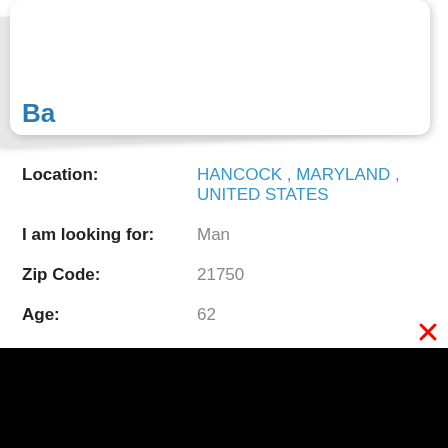[Figure (other): Overlapping card/panel decorative element at top of profile page]
Ba
Location: HANCOCK , MARYLAND , UNITED STATES
I am looking for: Man
Zip Code: 21750
Age: 62
Height: 5 ft. 4 in.
Body: Few Extra Pounds
Ethnicity: White
Education: High School